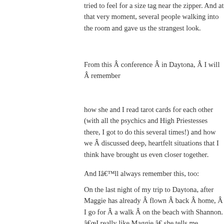tried to feel for a size tag near the zipper. And at that very moment, several people walking into the room and gave us the strangest look.
From this Â conference Â in Daytona, Â I will Â remember
how she and I read tarot cards for each other (with all the psychics and High Priestesses there, I got to do this several times!) and how we Â discussed deep, heartfelt situations that I think have brought us even closer together.
And Iâ€™ll always remember this, too:
On the last night of my trip to Daytona, after Maggie has already Â flown Â back Â home, Â I go for Â a walk Â on the beach with Shannon. â€I really like Maggie,â€ she tells me.